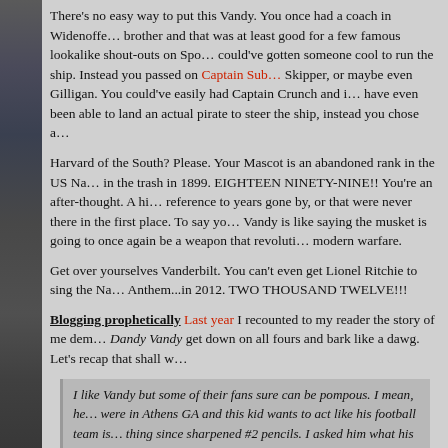[Figure (photo): Partial view of a football player/crowd image on the left sidebar, approximately 42px wide and full page height, dark/muted tones.]
There's no easy way to put this Vandy. You once had a coach in Widenoffer... brother and that was at least good for a few famous lookalike shout-outs on Spo... could've gotten someone cool to run the ship. Instead you passed on Captain Sub... Skipper, or maybe even Gilligan. You could've easily had Captain Crunch and in... have even been able to land an actual pirate to steer the ship, instead you chose a...
Harvard of the South? Please. Your Mascot is an abandoned rank in the US Nav... in the trash in 1899. EIGHTEEN NINETY-NINE!! You're an after-thought. A hi... reference to years gone by, or that were never there in the first place. To say you... Vandy is like saying the musket is going to once again be a weapon that revoluti... modern warfare.
Get over yourselves Vanderbilt. You can't even get Lionel Ritchie to sing the Na... Anthem...in 2012. TWO THOUSAND TWELVE!!!
Blogging prophetically Last year I recounted to my reader the story of me dem... Dandy Vandy get down on all fours and bark like a dawg. Let's recap that shall w...
I like Vandy but some of their fans sure can be pompous. I mean, he... were in Athens GA and this kid wants to act like his football team is... thing since sharpened #2 pencils. I asked him what his SAT score w... he was a witty sumbitch. Though after two fisting drinks for a coup... Fred and Nama I then insisted he get down on all fours and bark li... at Stegeman that February and sit with me while we watched Hugh... team.